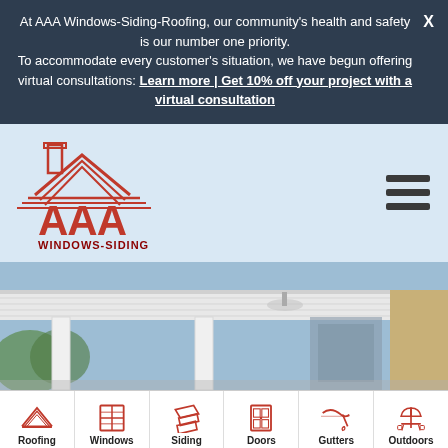At AAA Windows-Siding-Roofing, our community's health and safety is our number one priority. To accommodate every customer's situation, we have begun offering virtual consultations: Learn more | Get 10% off your project with a virtual consultation
[Figure (logo): AAA Windows-Siding Roofing logo with red house/roof outline and chimney, red text AAA WINDOWS-SIDING ROOFING]
[Figure (photo): Photo of a white patio cover/carport structure with columns and ceiling fan, attached to a house with beige siding]
[Figure (infographic): Navigation bar with 6 red icons and labels: Roofing, Windows, Siding, Doors, Gutters, Outdoors]